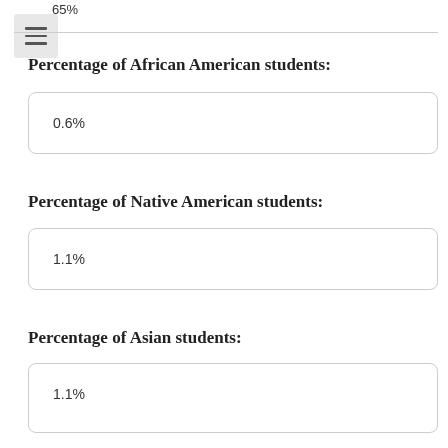65%
Percentage of African American students:
0.6%
Percentage of Native American students:
1.1%
Percentage of Asian students:
1.1%